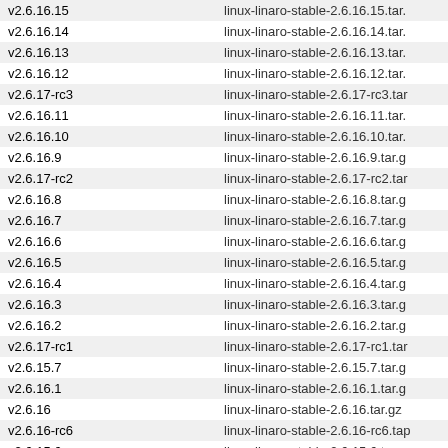| version | filename |
| --- | --- |
| v2.6.16.15 | linux-linaro-stable-2.6.16.15.tar. |
| v2.6.16.14 | linux-linaro-stable-2.6.16.14.tar. |
| v2.6.16.13 | linux-linaro-stable-2.6.16.13.tar. |
| v2.6.16.12 | linux-linaro-stable-2.6.16.12.tar. |
| v2.6.17-rc3 | linux-linaro-stable-2.6.17-rc3.tar |
| v2.6.16.11 | linux-linaro-stable-2.6.16.11.tar. |
| v2.6.16.10 | linux-linaro-stable-2.6.16.10.tar. |
| v2.6.16.9 | linux-linaro-stable-2.6.16.9.tar.g |
| v2.6.17-rc2 | linux-linaro-stable-2.6.17-rc2.tar |
| v2.6.16.8 | linux-linaro-stable-2.6.16.8.tar.g |
| v2.6.16.7 | linux-linaro-stable-2.6.16.7.tar.g |
| v2.6.16.6 | linux-linaro-stable-2.6.16.6.tar.g |
| v2.6.16.5 | linux-linaro-stable-2.6.16.5.tar.g |
| v2.6.16.4 | linux-linaro-stable-2.6.16.4.tar.g |
| v2.6.16.3 | linux-linaro-stable-2.6.16.3.tar.g |
| v2.6.16.2 | linux-linaro-stable-2.6.16.2.tar.g |
| v2.6.17-rc1 | linux-linaro-stable-2.6.17-rc1.tar |
| v2.6.15.7 | linux-linaro-stable-2.6.15.7.tar.g |
| v2.6.16.1 | linux-linaro-stable-2.6.16.1.tar.g |
| v2.6.16 | linux-linaro-stable-2.6.16.tar.gz |
| v2.6.16-rc6 | linux-linaro-stable-2.6.16-rc6.tap |
| v2.6.15.6 | linux-linaro-stable-2.6.15.6.tar.g |
| v2.6.15.5 | linux-linaro-stable-2.6.15.5.tar.g |
| v2.6.16-rc5 | linux-linaro-stable-2.6.16-rc5.tar |
| v2.6.16-rc4 | linux-linaro-stable-2.6.16-rc4.tar |
| v2.6.16-rc3 | linux-linaro-stable-2.6.16-rc3.tar |